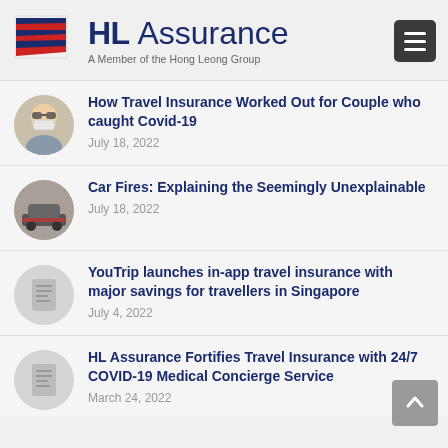HL Assurance — A Member of the Hong Leong Group
How Travel Insurance Worked Out for Couple who caught Covid-19 — July 18, 2022
Car Fires: Explaining the Seemingly Unexplainable — July 18, 2022
YouTrip launches in-app travel insurance with major savings for travellers in Singapore — July 4, 2022
HL Assurance Fortifies Travel Insurance with 24/7 COVID-19 Medical Concierge Service — March 24, 2022